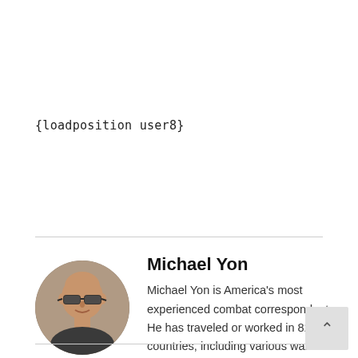{loadposition user8}
[Figure (photo): Circular portrait photo of Michael Yon, a bald man wearing aviator sunglasses, shown from shoulders up]
Michael Yon
Michael Yon is America's most experienced combat correspondent. He has traveled or worked in 82 countries, including various wars and conflicts.